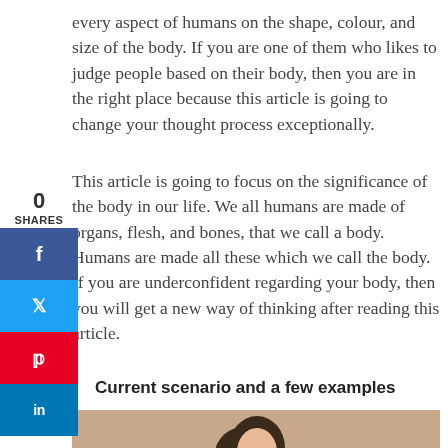every aspect of humans on the shape, colour, and size of the body. If you are one of them who likes to judge people based on their body, then you are in the right place because this article is going to change your thought process exceptionally.
0
SHARES
This article is going to focus on the significance of the body in our life. We all humans are made of organs, flesh, and bones, that we call a body. Humans are made all these which we call the body. If you are underconfident regarding your body, then you will get a new way of thinking after reading this article.
Current scenario and a few examples
[Figure (photo): Portrait photo of a young woman with yellow-tinted sunglasses, looking over her shoulder, with light brown/beige background.]